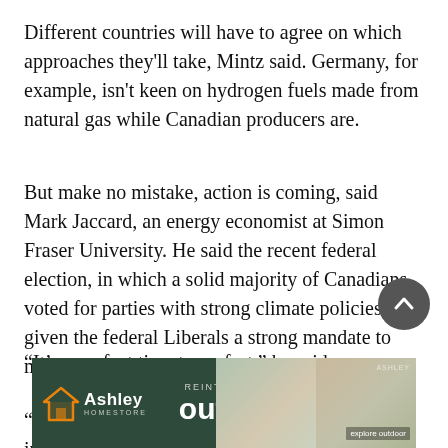Different countries will have to agree on which approaches they'll take, Mintz said. Germany, for example, isn't keen on hydrogen fuels made from natural gas while Canadian producers are.
But make no mistake, action is coming, said Mark Jaccard, an energy economist at Simon Fraser University. He said the recent federal election, in which a solid majority of Canadians voted for parties with strong climate policies, has given the federal Liberals a strong mandate to move.
“It’s a perfect time to go fast,” he said.
“I know there is going to be huge discussions inside
[Figure (other): Ashley HomeStore advertisement banner: dark green background with orange house logo, Ashley brand name, 'REINTRODUCING outdoor' text, and a photo of outdoor sofa furniture with 'explore outdoor' button.]